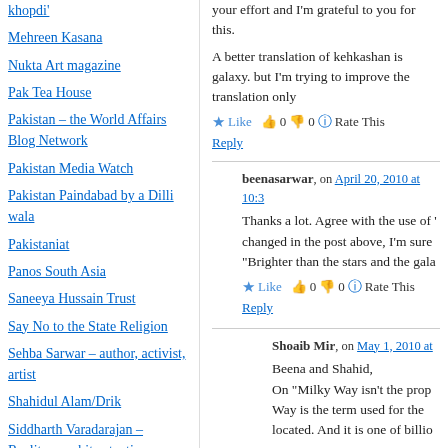khopdi'
Mehreen Kasana
Nukta Art magazine
Pak Tea House
Pakistan – the World Affairs Blog Network
Pakistan Media Watch
Pakistan Paindabad by a Dilli wala
Pakistaniat
Panos South Asia
Saneeya Hussain Trust
Say No to the State Religion
Sehba Sarwar – author, activist, artist
Shahidul Alam/Drik
Siddharth Varadarajan – Reality, one bite at a time
your effort and I'm grateful to you for this.
A better translation of kehkashan is galaxy. but I'm trying to improve the translation only
Like 0 0 Rate This
Reply
beenasarwar, on April 20, 2010 at 10:3
Thanks a lot. Agree with the use of 'changed in the post above, I'm sure "Brighter than the stars and the gala
Like 0 0 Rate This
Reply
Shoaib Mir, on May 1, 2010 at
Beena and Shahid,
On "Milky Way isn't the prop Way is the term used for the located. And it is one of billio
It's just as well that Milky Wa